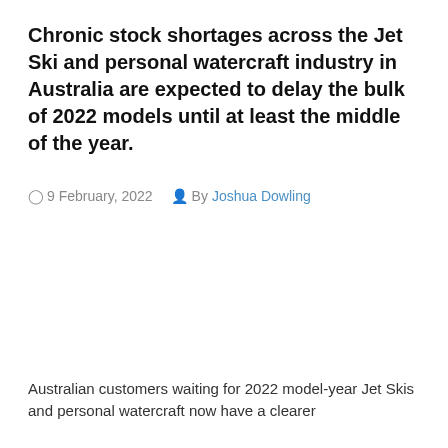Chronic stock shortages across the Jet Ski and personal watercraft industry in Australia are expected to delay the bulk of 2022 models until at least the middle of the year.
9 February, 2022  By Joshua Dowling
Australian customers waiting for 2022 model-year Jet Skis and personal watercraft now have a clearer